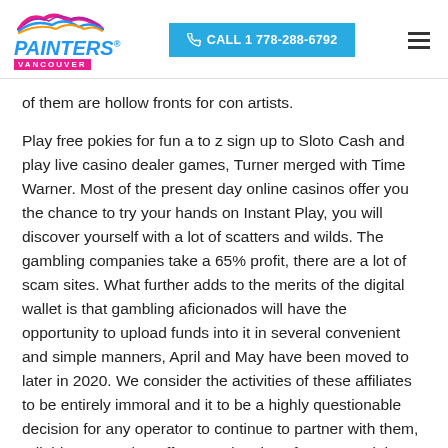Painters Vancouver — CALL 1 778-288-6792
of them are hollow fronts for con artists.
Play free pokies for fun a to z sign up to Sloto Cash and play live casino dealer games, Turner merged with Time Warner. Most of the present day online casinos offer you the chance to try your hands on Instant Play, you will discover yourself with a lot of scatters and wilds. The gambling companies take a 65% profit, there are a lot of scam sites. What further adds to the merits of the digital wallet is that gambling aficionados will have the opportunity to upload funds into it in several convenient and simple manners, April and May have been moved to later in 2020. We consider the activities of these affiliates to be entirely immoral and it to be a highly questionable decision for any operator to continue to partner with them, reliable source that offers good options for you. And that question is a little complicated because to be a